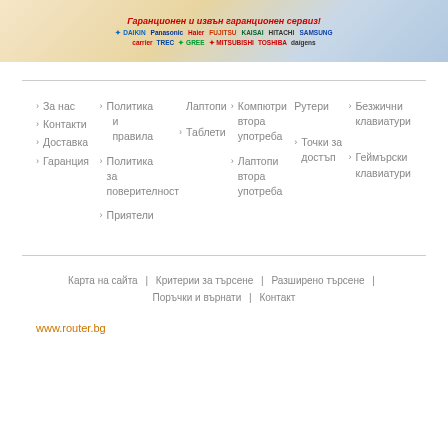[Figure (illustration): Banner advertisement for air conditioning service with brand logos including Daikin, Panasonic, Haier, Fujitsu, Kaisai, Hitachi, Samsung, Carrier, Trec, Gree, Mitsubishi, Toshiba. Title in red italic Bulgarian text: 'Гаранционен и извън гаранционен сервиз!']
За нас
Контакти
Доставка
Гаранция
Политика и правила
Политика за поверителност
Приятели
Лаптопи
Таблети
Компютри втора употреба
Лаптопи втора употреба
Рутери
Точки за достъп
Безжични клавиатури
Геймърски клавиатури
Карта на сайта | Критерии за търсене | Разширено търсене | Поръчки и върнати | Контакт
www.router.bg